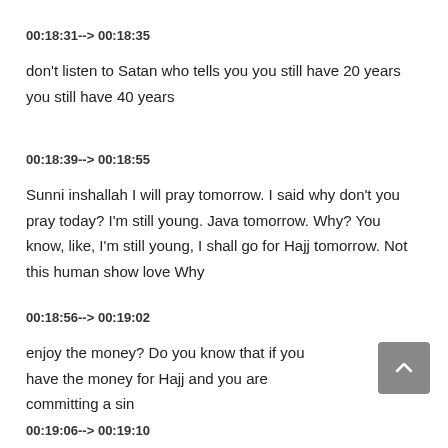00:18:31--> 00:18:35
don't listen to Satan who tells you you still have 20 years you still have 40 years
00:18:39--> 00:18:55
Sunni inshallah I will pray tomorrow. I said why don't you pray today? I'm still young. Java tomorrow. Why? You know, like, I'm still young, I shall go for Hajj tomorrow. Not this human show love Why
00:18:56--> 00:19:02
enjoy the money? Do you know that if you have the money for Hajj and you are committing a sin
00:19:06--> 00:19:10